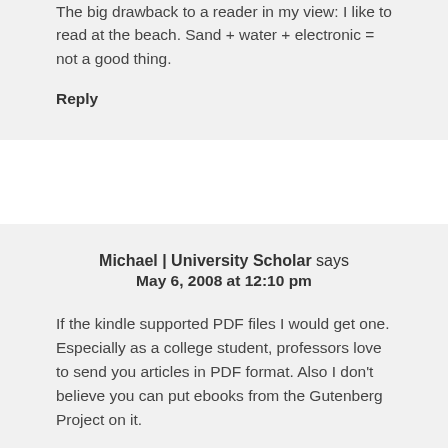The big drawback to a reader in my view: I like to read at the beach. Sand + water + electronic = not a good thing.
Reply
Michael | University Scholar says May 6, 2008 at 12:10 pm
If the kindle supported PDF files I would get one. Especially as a college student, professors love to send you articles in PDF format. Also I don't believe you can put ebooks from the Gutenberg Project on it.